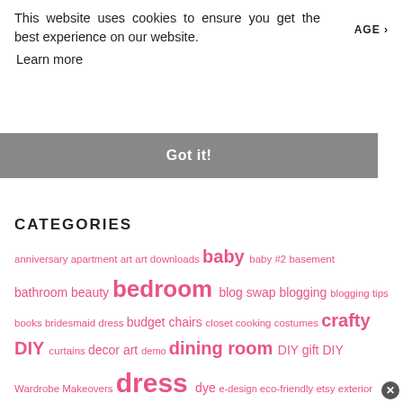This website uses cookies to ensure you get the best experience on our website.
AGE >
Learn more
Got it!
CATEGORIES
anniversary apartment art art downloads baby baby #2 basement bathroom beauty bedroom blog swap blogging blogging tips books bridesmaid dress budget chairs closet cooking costumes crafty DIY curtains decor art demo dining room DIY gift DIY Wardrobe Makeovers dress dye e-design eco-friendly etsy exterior fabric family farm fireplace fitness food furniture garage gardening gifts hair Halloween happiness headboard health hobbies holiday home dec home improvement home tour How to Wear DIY Instagram home tour interfacing jeans kids kitchen lace lamp lighting living room mending mood board my book my home